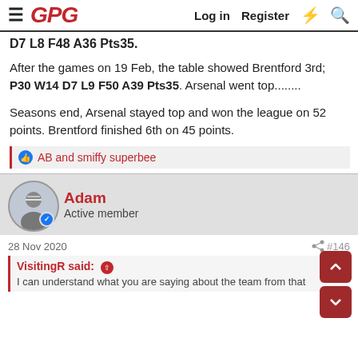GPG | Log in | Register
D7 L8 F48 A36 Pts35.
After the games on 19 Feb, the table showed Brentford 3rd; P30 W14 D7 L9 F50 A39 Pts35. Arsenal went top........
Seasons end, Arsenal stayed top and won the league on 52 points. Brentford finished 6th on 45 points.
AB and smiffy superbee
Adam
Active member
28 Nov 2020
#146
VisitingR said:
I can understand what you are saying about the team from that